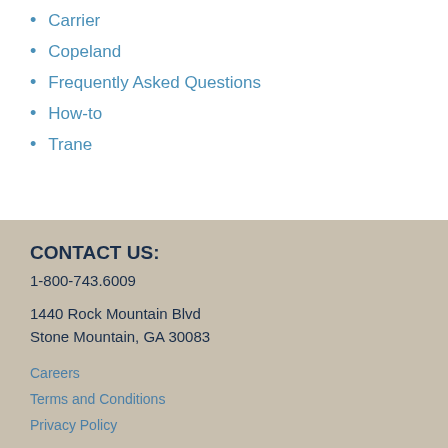Carrier
Copeland
Frequently Asked Questions
How-to
Trane
CONTACT US:
1-800-743.6009
1440 Rock Mountain Blvd
Stone Mountain, GA 30083
Careers
Terms and Conditions
Privacy Policy